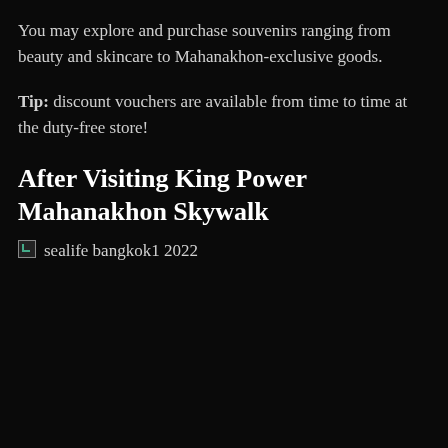You may explore and purchase souvenirs ranging from beauty and skincare to Mahanakhon-exclusive goods.
Tip: discount vouchers are available from time to time at the duty-free store!
After Visiting King Power Mahanakhon Skywalk
[Figure (photo): Broken image placeholder with caption 'sealife bangkok1 2022']